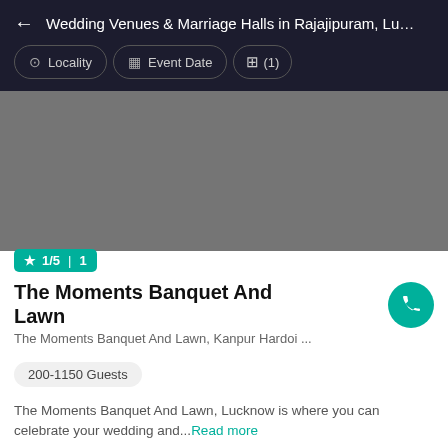← Wedding Venues & Marriage Halls in Rajajipuram, Lucknow
Locality | Event Date | (1) filter
[Figure (photo): Gray placeholder image for venue photo]
★ 1/5 | 1
The Moments Banquet And Lawn
The Moments Banquet And Lawn, Kanpur Hardoi ...
200-1150 Guests
The Moments Banquet And Lawn, Lucknow is where you can celebrate your wedding and...Read more
Vegetarian  ₹1200 / Plate
+1 Venue Tour  |  See Price